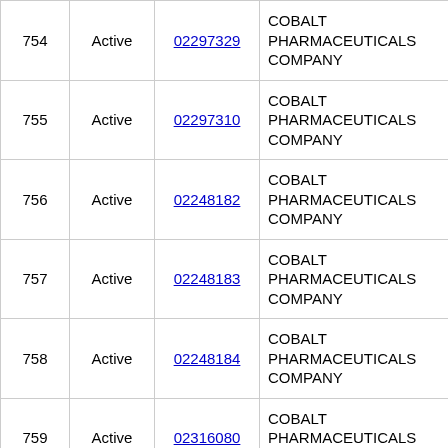| # | Status | DIN | Company | Product Name |
| --- | --- | --- | --- | --- |
| 754 | Active | 02297329 | COBALT PHARMACEUTICALS COMPANY | CO PRAMIPEX... |
| 755 | Active | 02297310 | COBALT PHARMACEUTICALS COMPANY | CO PRAMIPEX... |
| 756 | Active | 02248182 | COBALT PHARMACEUTICALS COMPANY | CO PRAVASTA... 10MG |
| 757 | Active | 02248183 | COBALT PHARMACEUTICALS COMPANY | CO PRAVASTA... 20MG |
| 758 | Active | 02248184 | COBALT PHARMACEUTICALS COMPANY | CO PRAVASTA... 40MG |
| 759 | Active | 02316080 | COBALT PHARMACEUTICALS COMPANY | CO QUETIAPINM... |
| 760 | Active | 02316129 | COBALT PHARMACEUTICALS COMPANY | CO QUETIAPINM... |
| 761 | Active | 02316110 | COBALT PHARMACEUTICALS COMPANY | CO QUETIAPINM... |